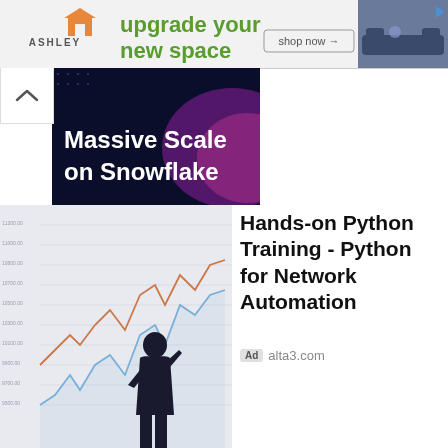[Figure (other): Ashley Furniture banner ad with logo, 'upgrade your new space' tagline, shop now button, and sofa image]
[Figure (other): Snowflake ad banner showing 'Massive Scale on Snowflake' text on dark blue/purple gradient background]
[Figure (other): Hands-on Python Training ad showing stock market chart with silhouette of businessman]
Hands-on Python Training - Python for Network Automation
Ad alta3.com